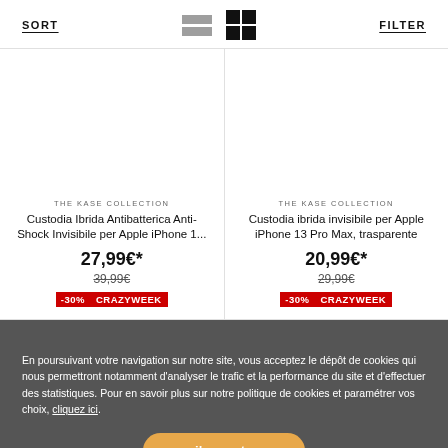SORT
[Figure (other): Grid view toggle icons: list view (gray bars) and tile view (black squares)]
FILTER
THE KASE COLLECTION
Custodia Ibrida Antibatterica Anti-Shock Invisibile per Apple iPhone 1...
27,99€*
39,99€
-30% CRAZYWEEK
THE KASE COLLECTION
Custodia ibrida invisibile per Apple iPhone 13 Pro Max, trasparente
20,99€*
29,99€
-30% CRAZYWEEK
En poursuivant votre navigation sur notre site, vous acceptez le dépôt de cookies qui nous permettront notamment d'analyser le trafic et la performance du site et d'effectuer des statistiques. Pour en savoir plus sur notre politique de cookies et paramétrer vos choix, cliquez ici.
j'accepte